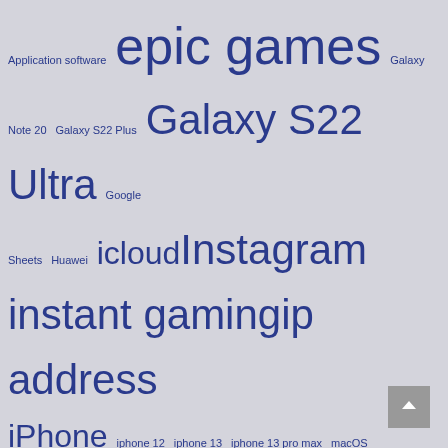[Figure (other): Tag cloud / word cloud with technology and software related terms in various font sizes, all in dark blue color on light grey background. Terms include: Application software, epic games, Galaxy Note 20, Galaxy S22 Plus, Galaxy S22 Ultra, Google Sheets, Huawei, icloud, Instagram, instant gaming, ip address, iPhone, iphone 12, iphone 13, iphone 13 pro max, macOS, Microsoft, Mobile app, Mobile device, Motorola, office 365, outlook, Pixel 6, Samsung Galaxy, Samsung Galaxy Tab S8, Smartphone, speedtest, speed test, teams, tiktok, Twitter, Ubuntu, vpn, WhatsApp, whatsapp web, Windows 10, Windows 11 Release, Xiaomi]